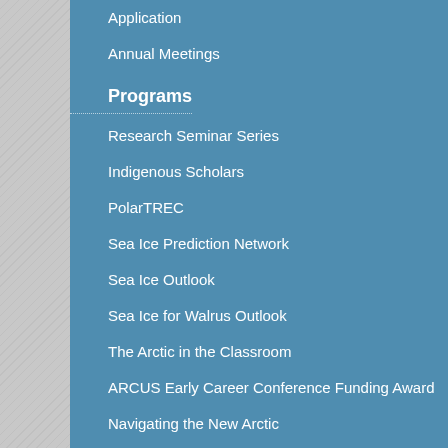Application
Annual Meetings
Programs
Research Seminar Series
Indigenous Scholars
PolarTREC
Sea Ice Prediction Network
Sea Ice Outlook
Sea Ice for Walrus Outlook
The Arctic in the Classroom
ARCUS Early Career Conference Funding Award
Navigating the New Arctic
Study of Environmental Arctic Change Archive
External Collaborations for the Interagency Arctic Research Policy Committee